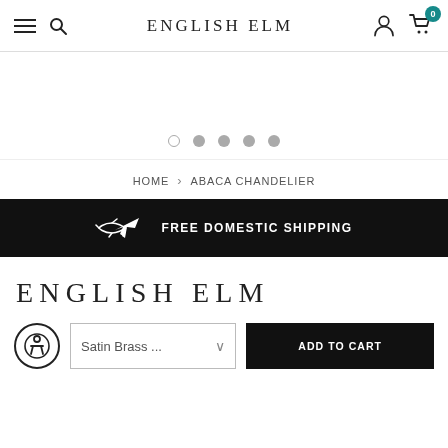ENGLISH ELM
[Figure (screenshot): Image carousel pagination dots (1 empty, 4 filled)]
HOME > ABACA CHANDELIER
FREE DOMESTIC SHIPPING
ENGLISH ELM
Satin Brass ... ADD TO CART